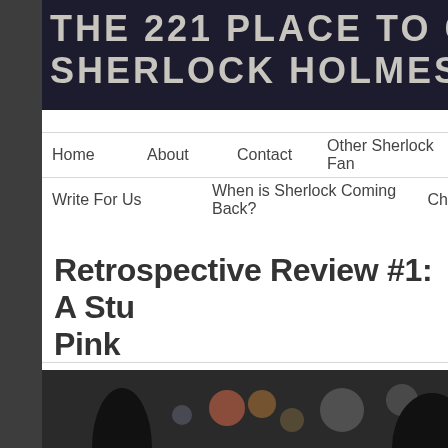[Figure (photo): Dark banner image with text 'THE 221 PLACE TO GO FOR SHERLOCK HOLMES FANS EV...' in distressed white lettering on dark background]
Home | About | Contact | Other Sherlock Fan... | Write For Us | When is Sherlock Coming Back? | Ch...
Retrospective Review #1: A Stu... Pink
POSTED ON AUGUST 23, 2015 BY SHERLOCK'S HOME
[Figure (photo): Dark photograph showing blurry figures with bokeh lights in background]